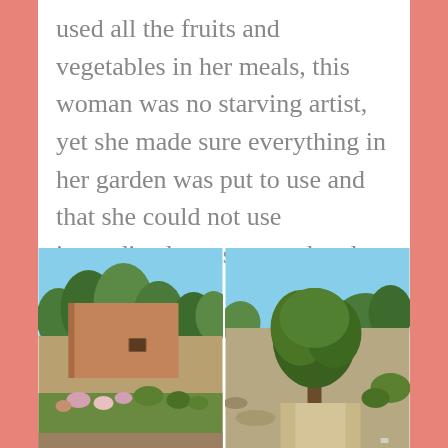used all the fruits and vegetables in her meals, this woman was no starving artist, yet she made sure everything in her garden was put to use and that she could not use immediately was canned and saved.
[Figure (photo): Outdoor photo showing an adobe mud brick building with a small window, surrounded by garden plants and flowers in the foreground, with trees in the background under a blue sky.]
[Figure (photo): Outdoor photo showing a large tree or shrub with dense green foliage, with a dirt path and open landscape in the background under a blue sky.]